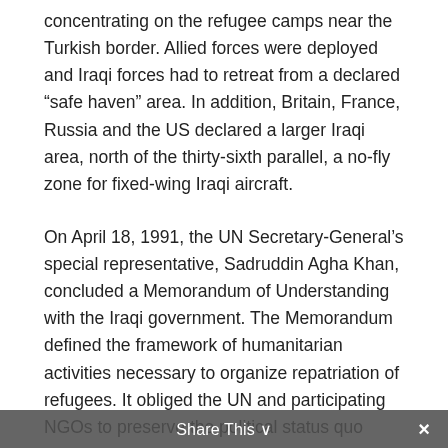concentrating on the refugee camps near the Turkish border. Allied forces were deployed and Iraqi forces had to retreat from a declared “safe haven” area. In addition, Britain, France, Russia and the US declared a larger Iraqi area, north of the thirty-sixth parallel, a no-fly zone for fixed-wing Iraqi aircraft.
On April 18, 1991, the UN Secretary-General’s special representative, Sadruddin Agha Khan, concluded a Memorandum of Understanding with the Iraqi government. The Memorandum defined the framework of humanitarian activities necessary to organize repatriation of refugees. It obliged the UN and participating NGOs to preserve the political status quo ante,
Share This ⌄  ×